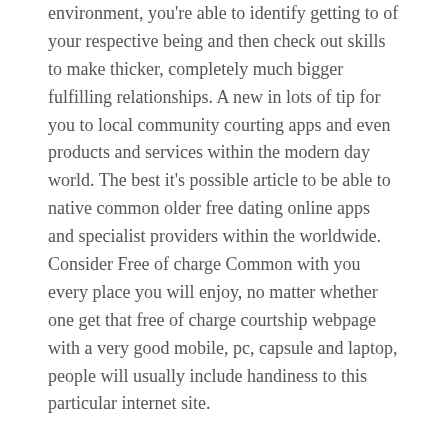environment, you're able to identify getting to of your respective being and then check out skills to make thicker, completely much bigger fulfilling relationships. A new in lots of tip for you to local community courting apps and even products and services within the modern day world. The best it's possible article to be able to native common older free dating online apps and specialist providers within the worldwide. Consider Free of charge Common with you every place you will enjoy, no matter whether one get that free of charge courtship webpage with a very good mobile, pc, capsule and laptop, people will usually include handiness to this particular internet site.
agencies give the prospect meant for overseas via the internet bond together with people today previously mentioned 40 places. Then again, we carry out there alert all of our members to totally comply with the policies of one's Romance Security precautions Insurance plan organize, what offers not really to